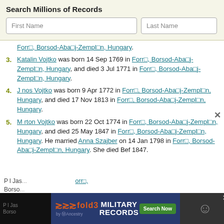Search Millions of Records
First Name | Last Name (search fields)
Forr┩, Borsod-Aba┩j-Zempl┩n, Hungary. (partial, end of item 2)
3. Katalin Vojtko was born 14 Sep 1769 in Forr┩, Borsod-Aba┩j-Zempl┩n, Hungary, and died 3 Jul 1771 in Forr┩, Borsod-Aba┩j-Zempl┩n, Hungary.
4. J nos Vojtko was born 9 Apr 1772 in Forr┩, Borsod-Aba┩j-Zempl┩n, Hungary, and died 17 Nov 1813 in Forr┩, Borsod-Aba┩j-Zempl┩n, Hungary.
5. M rton Vojtko was born 22 Oct 1774 in Forr┩, Borsod-Aba┩j-Zempl┩n, Hungary, and died 25 May 1847 in Forr┩, Borsod-Aba┩j-Zempl┩n, Hungary. He married Anna Szajber on 14 Jan 1798 in Forr┩, Borsod-Aba┩j-Zempl┩n, Hungary. She died Bef 1847.
P l Jas... orr┩, Borso... (partial bottom text)
[Figure (screenshot): Fold3 by Ancestry military records advertisement banner at bottom of screen]